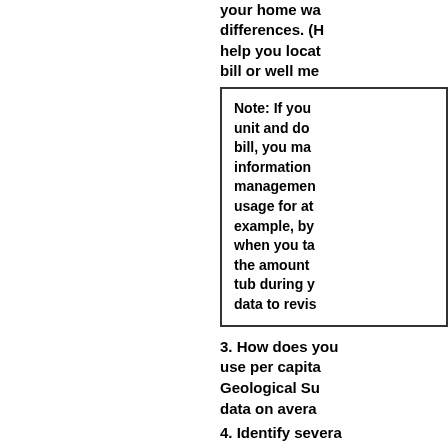your home wa... differences. (H... help you locat... bill or well me...
Note: If you... unit and do... bill, you ma... information... management... usage for at... example, by... when you ta... the amount... tub during y... data to revis...
3. How does your... use per capita... Geological Su... data on avera...
4. Identify severa... consumption,... Estimate how...
5. Discuss your... counselor.
4. Visit a place where water i...